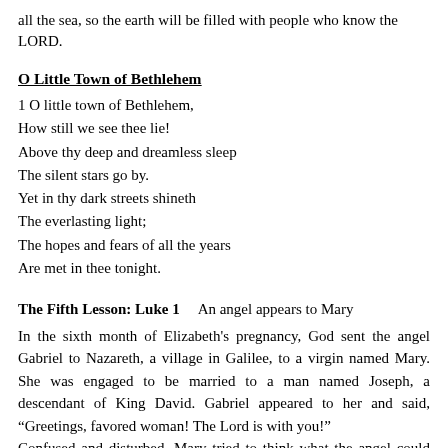all the sea, so the earth will be filled with people who know the LORD.
O Little Town of Bethlehem
1 O little town of Bethlehem,
How still we see thee lie!
Above thy deep and dreamless sleep
The silent stars go by.
Yet in thy dark streets shineth
The everlasting light;
The hopes and fears of all the years
Are met in thee tonight.
The Fifth Lesson: Luke 1    An angel appears to Mary
In the sixth month of Elizabeth's pregnancy, God sent the angel Gabriel to Nazareth, a village in Galilee, to a virgin named Mary. She was engaged to be married to a man named Joseph, a descendant of King David. Gabriel appeared to her and said, “Greetings, favored woman! The Lord is with you!”
Confused and disturbed, Mary tried to think what the angel could mean. “Don’t be afraid, Mary,” the angel told her, “for you have found